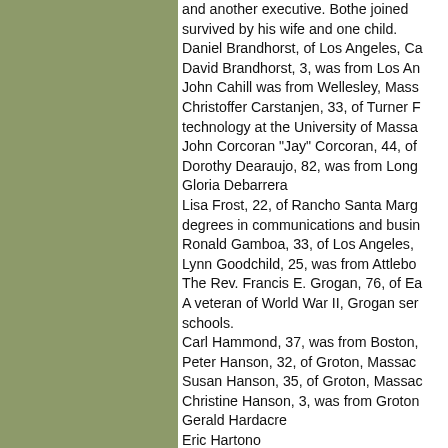and another executive. Bothe joined followed by survived by his wife and one child. Daniel Brandhorst, of Los Angeles, Ca David Brandhorst, 3, was from Los An John Cahill was from Wellesley, Mass Christoffer Carstanjen, 33, of Turner F technology at the University of Massa John Corcoran "Jay" Corcoran, 44, of Dorothy Dearaujo, 82, was from Long Gloria Debarrera Lisa Frost, 22, of Rancho Santa Marg degrees in communications and busin Ronald Gamboa, 33, of Los Angeles, Lynn Goodchild, 25, was from Attlebo The Rev. Francis E. Grogan, 76, of Ea A veteran of World War II, Grogan ser schools. Carl Hammond, 37, was from Boston, Peter Hanson, 32, of Groton, Massac Susan Hanson, 35, of Groton, Massac Christine Hanson, 3, was from Groton Gerald Hardacre Eric Hartono James E. Hayden, 47, of Westford, M Hayden is survived by his wife, Gail, a Hayden, 48, of Milford, M